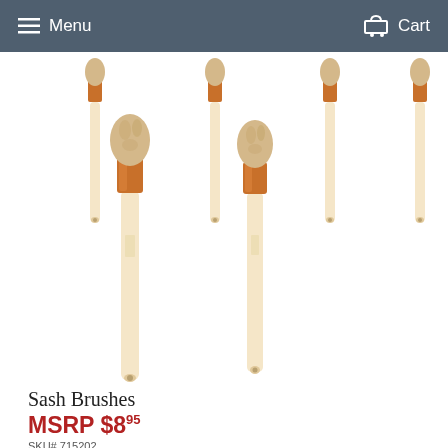Menu  Cart
[Figure (photo): Multiple sash brushes with round bristle heads, copper ferrules, and light wood handles shown from above. Four smaller brushes partially visible at top, two full brushes prominently shown in the lower portion.]
Sash Brushes
MSRP $8.95
SKU# 715202
UPC: 7173041367166